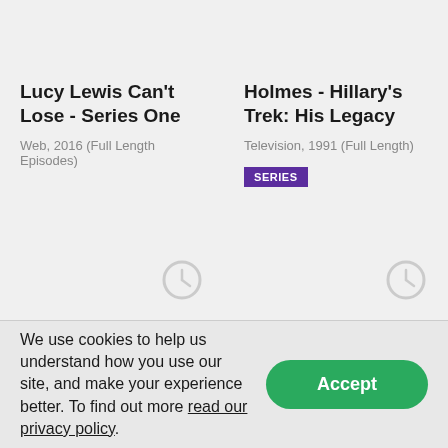Lucy Lewis Can't Lose - Series One
Web, 2016 (Full Length Episodes)
[Figure (illustration): Clock/watchlist icon placeholder, greyed out]
Holmes - Hillary's Trek: His Legacy
Television, 1991 (Full Length)
SERIES
[Figure (illustration): Clock/watchlist icon placeholder, greyed out]
We use cookies to help us understand how you use our site, and make your experience better. To find out more read our privacy policy.